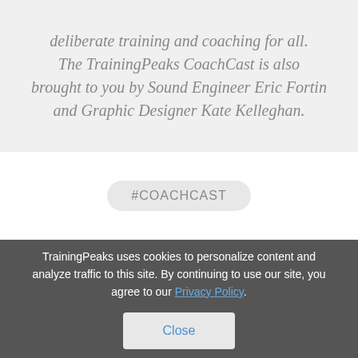deliberate training and coaching for all. The TrainingPeaks CoachCast is also brought to you by Sound Engineer Eric Fortin and Graphic Designer Kate Kelleghan.
#COACHCAST
TrainingPeaks uses cookies to personalize content and analyze traffic to this site. By continuing to use our site, you agree to our Privacy Policy.
Close